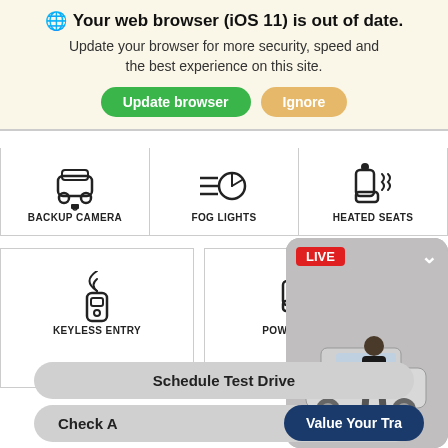🌐 Your web browser (iOS 11) is out of date. Update your browser for more security, speed and the best experience on this site. [Update browser] [Ignore]
[Figure (infographic): Car features grid showing icons and labels: BACKUP CAMERA (car with rear camera icon), FOG LIGHTS (fog light icon), HEATED SEATS (seat with heat waves icon), KEYLESS ENTRY (key fob with signal icon), POWER SEATS (seat with power symbol icon)]
[Figure (screenshot): Live video widget showing a man standing in front of a Hyundai SUV car, with a red LIVE badge and a down chevron]
Schedule Test Drive
Check A
Value Your Tra